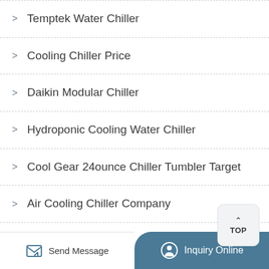Temptek Water Chiller
Cooling Chiller Price
Daikin Modular Chiller
Hydroponic Cooling Water Chiller
Cool Gear 24ounce Chiller Tumbler Target
Air Cooling Chiller Company
Pillow Similar To Lux Living Softcell Chill Hybrid Cooling Pillow
Send Message | Inquiry Online